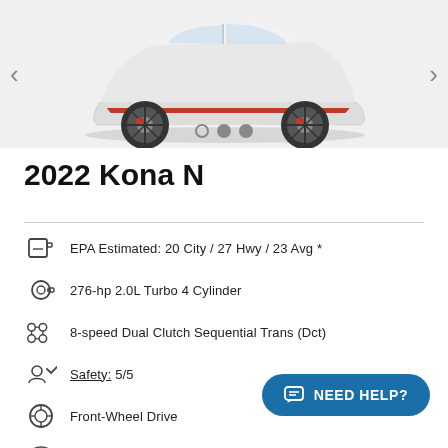[Figure (photo): White 2022 Hyundai Kona N SUV side profile view on light gray background, with navigation arrows on left and right and three dots indicator at bottom]
2022 Kona N
EPA Estimated: 20 City / 27 Hwy / 23 Avg *
276-hp 2.0L Turbo 4 Cylinder
8-speed Dual Clutch Sequential Trans (Dct)
Safety: 5/5
Front-Wheel Drive
4-door SUV
5 Passengers
5 years, 60,000 miles